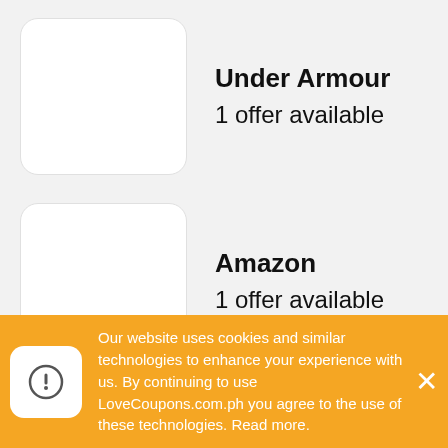Under Armour
1 offer available
Amazon
1 offer available
Skechers
2 offers available
Hydro Flask
Our website uses cookies and similar technologies to enhance your experience with us. By continuing to use LoveCoupons.com.ph you agree to the use of these technologies. Read more.